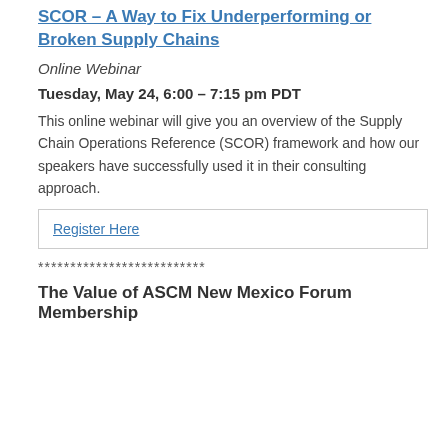View Details & Register Here
**************************
SCOR – A Way to Fix Underperforming or Broken Supply Chains
Online Webinar
Tuesday, May 24, 6:00 – 7:15 pm PDT
This online webinar will give you an overview of the Supply Chain Operations Reference (SCOR) framework and how our speakers have successfully used it in their consulting approach.
Register Here
**************************
The Value of ASCM New Mexico Forum Membership